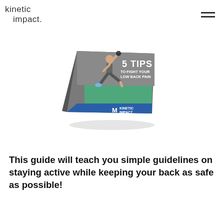kinetic impact.
[Figure (illustration): A book/guide cover titled '5 TIPS TO FIGHT YOUR LOW BACK PAIN' with a person doing a lunge exercise holding a kettlebell overhead, Kinetic Impact logo at the bottom, shown as a 3D book prop.]
This guide will teach you simple guidelines on staying active while keeping your back as safe as possible!